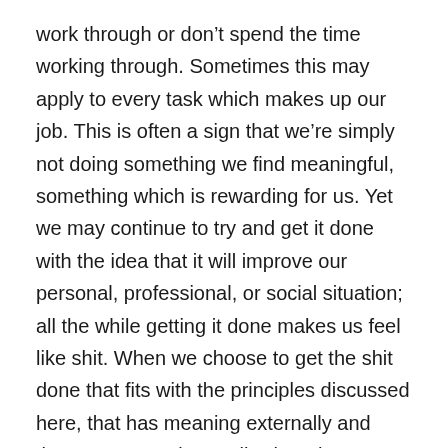work through or don't spend the time working through. Sometimes this may apply to every task which makes up our job. This is often a sign that we're simply not doing something we find meaningful, something which is rewarding for us. Yet we may continue to try and get it done with the idea that it will improve our personal, professional, or social situation; all the while getting it done makes us feel like shit. When we choose to get the shit done that fits with the principles discussed here, that has meaning externally and then empowers internally, then the passion will follow naturally.
We delivery results